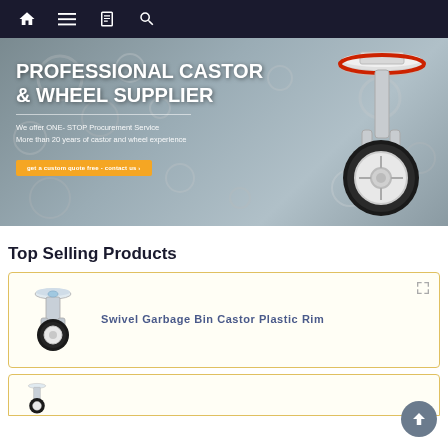Navigation bar with home, menu, book, and search icons
[Figure (photo): Hero banner: Professional Castor & Wheel Supplier with castor wheel image on right. Text: PROFESSIONAL CASTOR & WHEEL SUPPLIER. We offer ONE-STOP Procurement Service. More than 20 years of castor and wheel experience. Orange button: get a custom quote free - contact us]
Top Selling Products
[Figure (photo): Product card showing a swivel garbage bin castor with plastic rim, black rubber wheel on chrome/steel bracket]
Swivel Garbage Bin Castor Plastic Rim
[Figure (photo): Second product card partially visible at bottom of page]